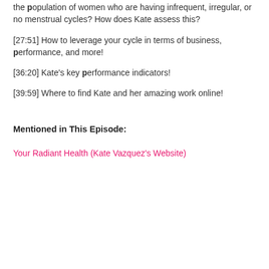the population of women who are having infrequent, irregular, or no menstrual cycles? How does Kate assess this?
[27:51] How to leverage your cycle in terms of business, performance, and more!
[36:20] Kate's key performance indicators!
[39:59] Where to find Kate and her amazing work online!
Mentioned in This Episode:
Your Radiant Health (Kate Vazquez's Website)